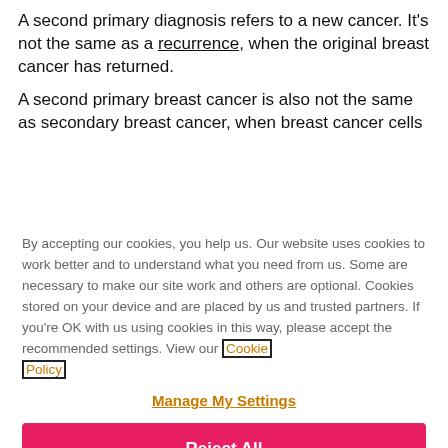A second primary diagnosis refers to a new cancer. It's not the same as a recurrence, when the original breast cancer has returned.
A second primary breast cancer is also not the same as secondary breast cancer, when breast cancer cells
By accepting our cookies, you help us. Our website uses cookies to work better and to understand what you need from us. Some are necessary to make our site work and others are optional. Cookies stored on your device and are placed by us and trusted partners. If you're OK with us using cookies in this way, please accept the recommended settings. View our Cookie Policy
Manage My Settings
Reject All
Accept All Cookies